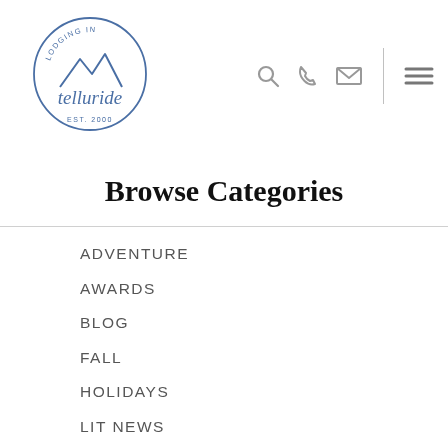[Figure (logo): Lodging in Telluride circular logo with mountain graphic, cursive 'telluride' text and 'EST. 2000']
Browse Categories
ADVENTURE
AWARDS
BLOG
FALL
HOLIDAYS
LIT NEWS
PROPERTY MGMT
PROPERTY WALKTHROUGH
RESTAURANTS
SKI VACATION
SKIING IN TELLURIDE